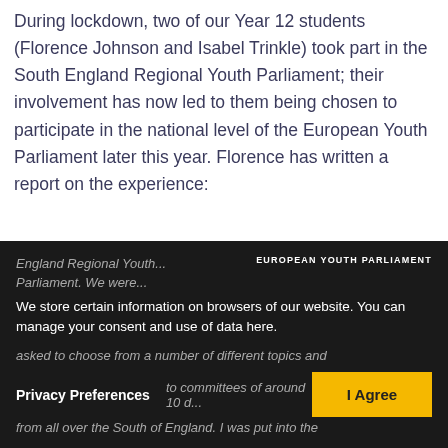During lockdown, two of our Year 12 students (Florence Johnson and Isabel Trinkle) took part in the South England Regional Youth Parliament; their involvement has now led to them being chosen to participate in the national level of the European Youth Parliament later this year. Florence has written a report on the experience:
“After hearing about the opportunity through Mr Banwell, we decided to sign up for the South England Regional Youth...
[Figure (logo): European Youth Parliament logo: scattered blue and yellow stars arranged in a dispersed pattern]
EUROPEAN YOUTH PARLIAMENT
We store certain information on browsers of our website. You can manage your consent and use of data here.
asked to choose from a number of different topics and... to committees of around 10 d... from all over the South of England. I was put into the...
Privacy Preferences
I Agree